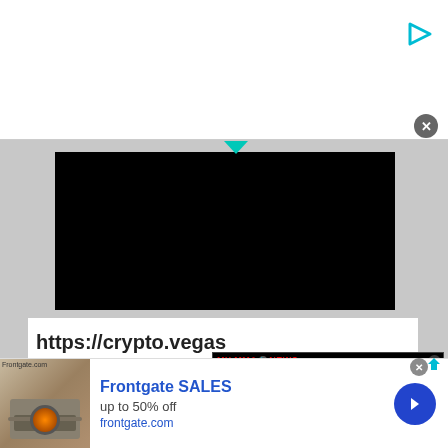[Figure (screenshot): Top white ad banner area with a teal play button icon in upper right and a grey close button (x) in lower right]
[Figure (screenshot): Black video player area with a teal downward caret/arrow above it and URL text 'https://crypto.vegas' below]
https://crypto.vegas
[Figure (screenshot): Green Follow on Feedly button with diamond logo]
[Figure (screenshot): MY MMA NEWS overlay video showing ISRAEL GALVAN CES 70 text with a person in a hat visible on the right, and arrow navigation button]
Israel Galvan Plans To Finish
[Figure (screenshot): Bottom advertisement banner for Frontgate SALES - up to 50% off - frontgate.com with a patio furniture image and blue arrow button]